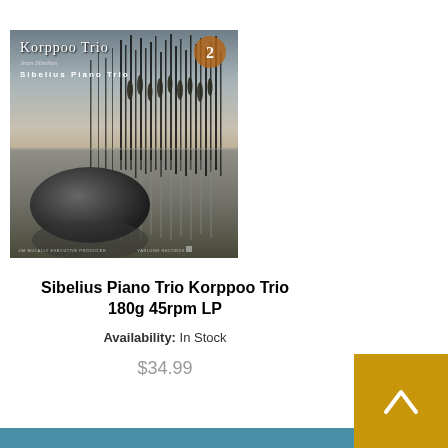[Figure (photo): Album cover for Korppoo Trio - Jean Sibelius - Sibelius Piano Trio. Shows a moody lakeside scene with reed silhouettes, a large dark rock in foreground, still water, and a badge showing '2'. Footer text: JIM MULALLY EXECUTIVE PRODUCER and YARLUNG RECORDS logo.]
Sibelius Piano Trio Korppoo Trio 180g 45rpm LP
Availability: In Stock
$34.99